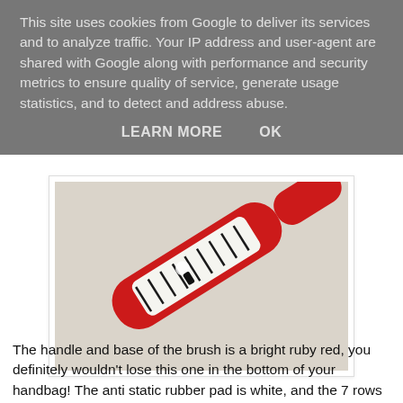This site uses cookies from Google to deliver its services and to analyze traffic. Your IP address and user-agent are shared with Google along with performance and security metrics to ensure quality of service, generate usage statistics, and to detect and address abuse.
LEARN MORE    OK
[Figure (photo): A bright ruby red hairbrush with black nylon pins and a white anti-static rubber pad, featuring a small figure illustration on the handle, photographed on a white fabric background.]
The handle and base of the brush is a bright ruby red, you definitely wouldn't lose this one in the bottom of your handbag! The anti static rubber pad is white, and the 7 rows of nylon pins are in a contrasting black.